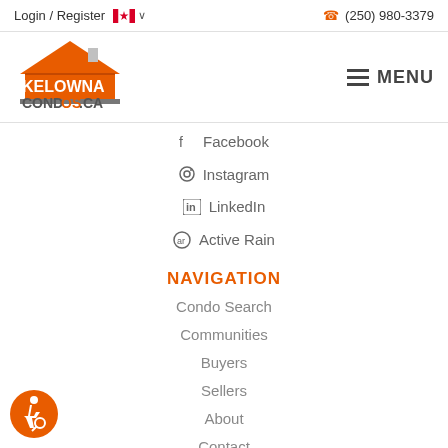Login / Register   🇨🇦 ∨   (250) 980-3379
[Figure (logo): Kelowna Condos .ca logo with house icon in orange and grey text]
≡ MENU
f  Facebook
Instagram
in  LinkedIn
Active Rain
NAVIGATION
Condo Search
Communities
Buyers
Sellers
About
Contact
[Figure (illustration): Orange circle accessibility icon with wheelchair user symbol]